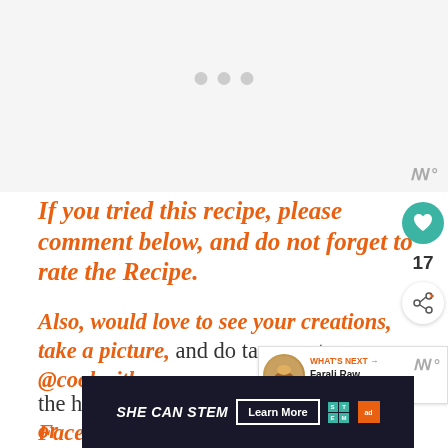[Figure (other): Loading image placeholder with three grey dots]
If you tried this recipe, please comment below, and do not forget to rate the Recipe.
Also, would love to see your creations, take a picture, and do tag me at @cookwithrenu or the hashtag #Cookwithrenu on Facebook, Twitter,
[Figure (other): What's Next widget showing Farali Raw Banana Keb...]
[Figure (other): SHE CAN STEM ad banner with Learn More button, STEM logo, and Ad Council logo]